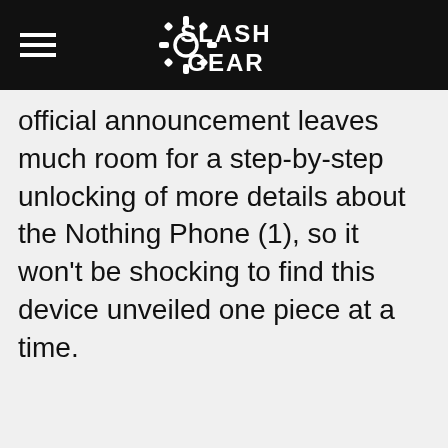SlashGear
official announcement leaves much room for a step-by-step unlocking of more details about the Nothing Phone (1), so it won't be shocking to find this device unveiled one piece at a time.